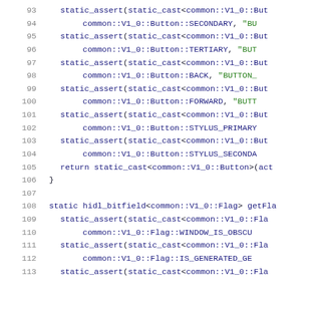[Figure (screenshot): Source code listing showing C++ static_assert statements for common::V1_0::Button and common::V1_0::Flag enum conversions, lines 93-113, with line numbers in gray, keywords and namespaces in dark blue, and string literals in green.]